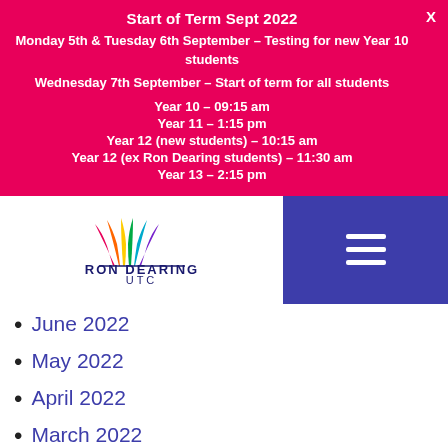Start of Term Sept 2022
Monday 5th & Tuesday 6th September – Testing for new Year 10 students
Wednesday 7th September – Start of term for all students
Year 10 – 09:15 am
Year 11 – 1:15 pm
Year 12 (new students) – 10:15 am
Year 12 (ex Ron Dearing students) – 11:30 am
Year 13 – 2:15 pm
[Figure (logo): Ron Dearing UTC logo with colourful wing/feather graphic above the text RON DEARING UTC]
June 2022
May 2022
April 2022
March 2022
February 2022